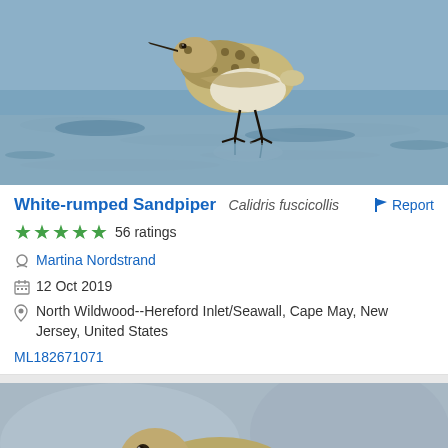[Figure (photo): A sandpiper bird (White-rumped Sandpiper) standing on wet sandy shore with reflection, blue-grey water background]
White-rumped Sandpiper Calidris fuscicollis
56 ratings
Martina Nordstrand
12 Oct 2019
North Wildwood--Hereford Inlet/Seawall, Cape May, New Jersey, United States
ML182671071
[Figure (photo): Another shorebird (sandpiper) photographed up close with blurred grey background]